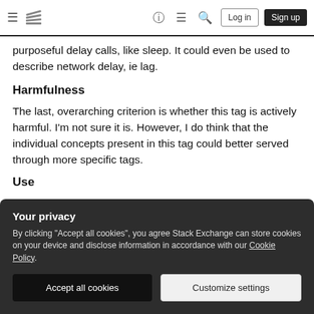Stack Exchange navigation bar with hamburger menu, logo, help, chat, search icons, Log in and Sign up buttons
purposeful delay calls, like sleep. It could even be used to describe network delay, ie lag.
Harmfulness
The last, overarching criterion is whether this tag is actively harmful. I'm not sure it is. However, I do think that the individual concepts present in this tag could better served through more specific tags.
Use
Your privacy
By clicking "Accept all cookies", you agree Stack Exchange can store cookies on your device and disclose information in accordance with our Cookie Policy.
Accept all cookies  Customize settings